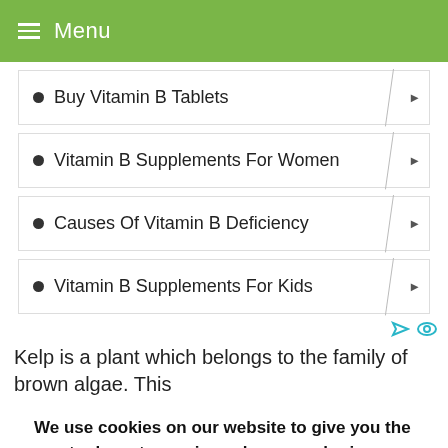Menu
Buy Vitamin B Tablets
Vitamin B Supplements For Women
Causes Of Vitamin B Deficiency
Vitamin B Supplements For Kids
Kelp is a plant which belongs to the family of brown algae. This
We use cookies on our website to give you the most relevant experience by remembering your preferences and repeat visits. By clicking “Accept”, you consent to the use of ALL the cookies.
Do not sell my personal information.
Settings | Accept